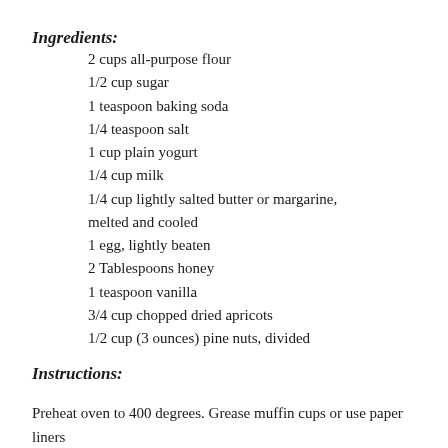Ingredients:
2 cups all-purpose flour
1/2 cup sugar
1 teaspoon baking soda
1/4 teaspoon salt
1 cup plain yogurt
1/4 cup milk
1/4 cup lightly salted butter or margarine, melted and cooled
1 egg, lightly beaten
2 Tablespoons honey
1 teaspoon vanilla
3/4 cup chopped dried apricots
1/2 cup (3 ounces) pine nuts, divided
Instructions:
Preheat oven to 400 degrees. Grease muffin cups or use paper liners